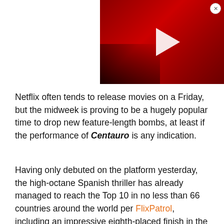[Figure (screenshot): Video player overlay in top-right corner showing a dark red/crimson background with a white play button triangle in the center, and a close (X) button in the top-right corner of the video.]
Netflix often tends to release movies on a Friday, but the midweek is proving to be a hugely popular time to drop new feature-length bombs, at least if the performance of Centauro is any indication.
Having only debuted on the platform yesterday, the high-octane Spanish thriller has already managed to reach the Top 10 in no less than 66 countries around the world per FlixPatrol, including an impressive eighth-placed finish in the United States. Foreign language content has become increasingly important given that Netflix can't rely on blockbusters forever.